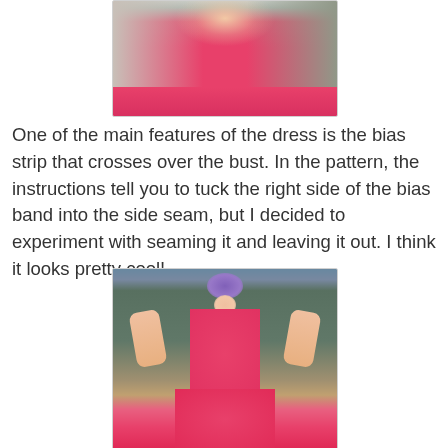[Figure (photo): Photo of a woman wearing a hot pink halter dress with a bias band crossing over the bust, showing tattoos on both arms, cropped to show torso only.]
One of the main features of the dress is the bias strip that crosses over the bust. In the pattern, the instructions tell you to tuck the right side of the bias band into the side seam, but I decided to experiment with seaming it and leaving it out. I think it looks pretty cool!
[Figure (photo): Full-length photo of a woman with short purple hair wearing a hot pink halter dress with a bias strip crossing the bust and a full skirt, posing with hands on hips outdoors near a wooden fence and trees.]